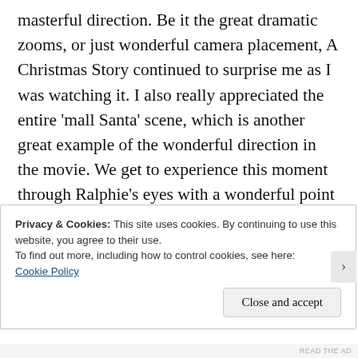masterful direction. Be it the great dramatic zooms, or just wonderful camera placement, A Christmas Story continued to surprise me as I was watching it. I also really appreciated the entire 'mall Santa' scene, which is another great example of the wonderful direction in the movie. We get to experience this moment through Ralphie's eyes with a wonderful point of view shot, but really I enjoy that scene because of how much the tone is able to shift. Up until that point in the movie, we are having fun and laughing along, but as soon as we see that Santa, the tone shifts to one that is much
Privacy & Cookies: This site uses cookies. By continuing to use this website, you agree to their use.
To find out more, including how to control cookies, see here:
Cookie Policy
Close and accept